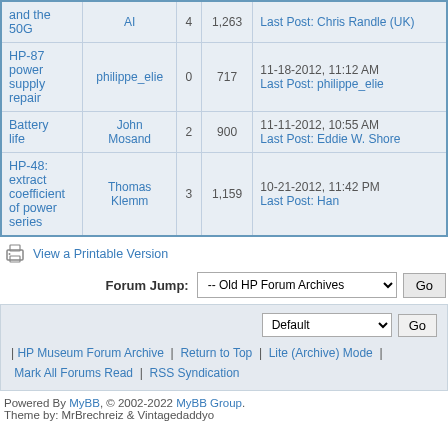| Topic | Author | Replies | Views | Last Post |
| --- | --- | --- | --- | --- |
| and the 50G | AI | 4 | 1,263 | Last Post: Chris Randle (UK) |
| HP-87 power supply repair | philippe_elie | 0 | 717 | 11-18-2012, 11:12 AM
Last Post: philippe_elie |
| Battery life | John Mosand | 2 | 900 | 11-11-2012, 10:55 AM
Last Post: Eddie W. Shore |
| HP-48: extract coefficient of power series | Thomas Klemm | 3 | 1,159 | 10-21-2012, 11:42 PM
Last Post: Han |
View a Printable Version
Forum Jump: -- Old HP Forum Archives  Go
Default  Go
| HP Museum Forum Archive | Return to Top | Lite (Archive) Mode | Mark All Forums Read | RSS Syndication
Powered By MyBB, © 2002-2022 MyBB Group. Theme by: MrBrechreiz & Vintagedaddyo